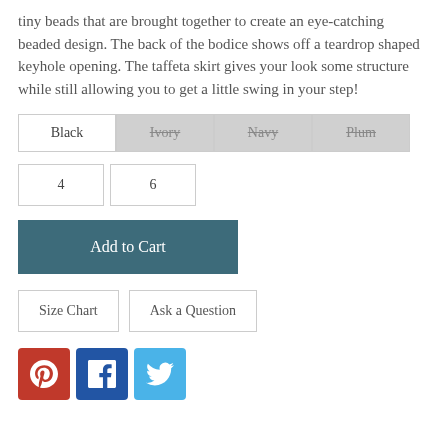tiny beads that are brought together to create an eye-catching beaded design. The back of the bodice shows off a teardrop shaped keyhole opening. The taffeta skirt gives your look some structure while still allowing you to get a little swing in your step!
Black | Ivory (unavailable) | Navy (unavailable) | Plum (unavailable)
4 | 6
Add to Cart
Size Chart | Ask a Question
[Figure (other): Social share icons: Pinterest (red), Facebook (blue), Twitter (light blue)]